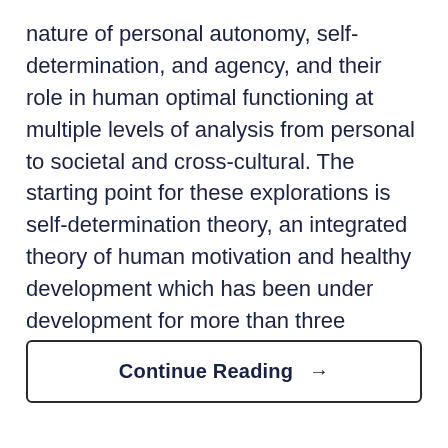nature of personal autonomy, self-determination, and agency, and their role in human optimal functioning at multiple levels of analysis from personal to societal and cross-cultural. The starting point for these explorations is self-determination theory, an integrated theory of human motivation and healthy development which has been under development for more than three decades (Deci & Ryan, 2000).
Continue Reading →